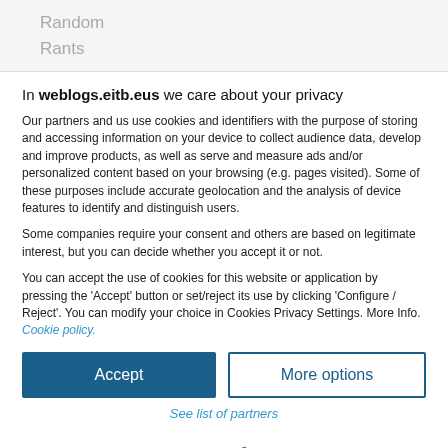Random
Rants
In weblogs.eitb.eus we care about your privacy
Our partners and us use cookies and identifiers with the purpose of storing and accessing information on your device to collect audience data, develop and improve products, as well as serve and measure ads and/or personalized content based on your browsing (e.g. pages visited). Some of these purposes include accurate geolocation and the analysis of device features to identify and distinguish users.
Some companies require your consent and others are based on legitimate interest, but you can decide whether you accept it or not.
You can accept the use of cookies for this website or application by pressing the 'Accept' button or set/reject its use by clicking 'Configure / Reject'. You can modify your choice in Cookies Privacy Settings. More Info. Cookie policy.
Accept
More options
See list of partners
Sibbo  ver 125.38